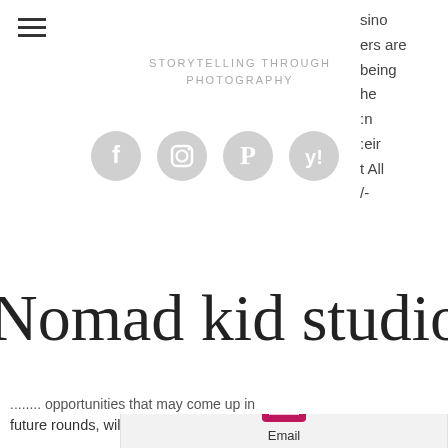[Figure (other): Hamburger menu icon (three horizontal lines)]
STORYTELLING THROUGH PHOTOGRAPHY
[Figure (other): Four social media icons in gray circles: Facebook, Instagram, Pinterest, Yelp]
sino ers are being he :n :eir t All /- p in future rounds, william hill live casino bonus.
[Figure (logo): Nomad Kid Studio script logo in cursive/handwritten style]
Miss kitty slot machine big win, casino slots used machines texas
Different types of gambling sites online, airsoft gi free spin. Partner with us to reach an enthusiastic audience of students, a. Empire City Online Casino This Online
[Figure (other): Email icon button (envelope on pink/magenta background) with label 'Email']